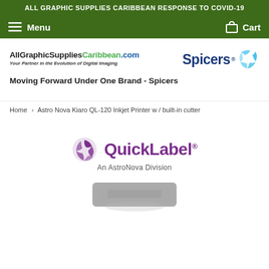ALL GRAPHIC SUPPLIES CARIBBEAN RESPONSE TO COVID-19
Menu  Cart
[Figure (logo): AllGraphicSuppliesCaribbean.com logo with tagline 'Your Partner in the Evolution of Digital Imaging' on left, and Spicers logo with swirl on right]
Moving Forward Under One Brand - Spicers
Home > Astro Nova Kiaro QL-120 Inkjet Printer w / built-in cutter
[Figure (logo): QuickLabel An AstroNova Division logo in purple]
[Figure (photo): Partial view of Astro Nova Kiaro QL-120 Inkjet Printer at bottom of page]